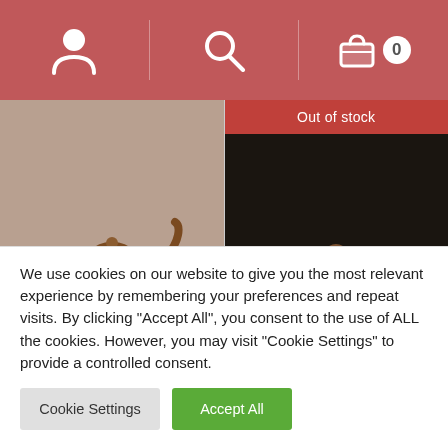[Figure (screenshot): Top navigation bar with user icon, search icon, and shopping cart icon showing 0 items, on a red/pink background]
[Figure (photo): Product card showing a ceramic teapot shaped like a round gourd/animal form on a blue and white plate]
Teaware
Duanni Yixing Teapot 120ml –
[Figure (photo): Product card showing an Out of stock banner and a traditional Yixing clay teapot on a dark background]
Teaware
Duanni Yixing Teapot 120ml – Wen
We use cookies on our website to give you the most relevant experience by remembering your preferences and repeat visits. By clicking "Accept All", you consent to the use of ALL the cookies. However, you may visit "Cookie Settings" to provide a controlled consent.
Cookie Settings
Accept All